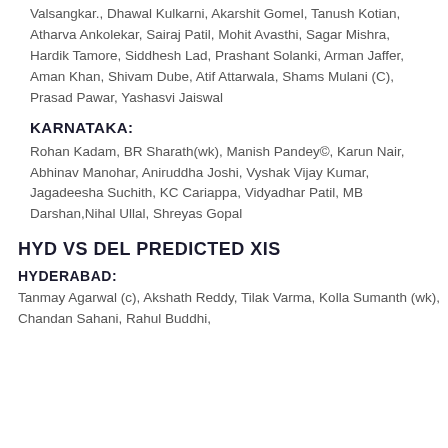Valsangkar., Dhawal Kulkarni, Akarshit Gomel, Tanush Kotian, Atharva Ankolekar, Sairaj Patil, Mohit Avasthi, Sagar Mishra, Hardik Tamore, Siddhesh Lad, Prashant Solanki, Arman Jaffer, Aman Khan, Shivam Dube, Atif Attarwala, Shams Mulani (C), Prasad Pawar, Yashasvi Jaiswal
KARNATAKA:
Rohan Kadam, BR Sharath(wk), Manish Pandey©, Karun Nair, Abhinav Manohar, Aniruddha Joshi, Vyshak Vijay Kumar, Jagadeesha Suchith, KC Cariappa, Vidyadhar Patil, MB Darshan,Nihal Ullal, Shreyas Gopal
HYD VS DEL PREDICTED XIS
HYDERABAD:
Tanmay Agarwal (c), Akshath Reddy, Tilak Varma, Kolla Sumanth (wk), Chandan Sahani, Rahul Buddhi,